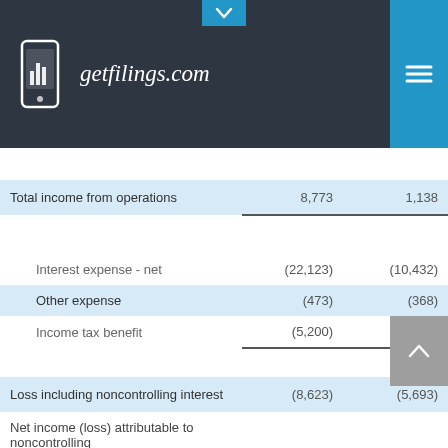getfilings.com
|  |  |  |
| --- | --- | --- |
| Total income from operations | 8,773 | 1,138 |
| Interest expense - net | (22,123) | (10,432) |
| Other expense | (473) | (368) |
| Income tax benefit | (5,200) | (3,969) |
| Loss including noncontrolling interest | (8,623) | (5,693) |
| Net income (loss) attributable to noncontrolling interest | (21) | 4 |